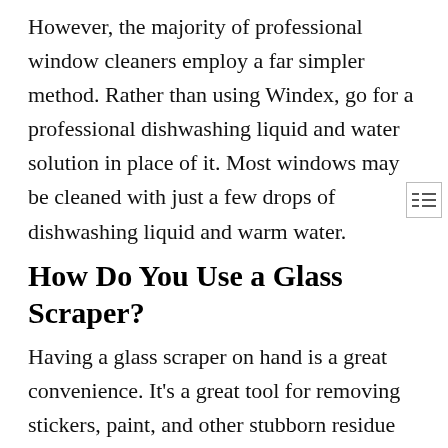However, the majority of professional window cleaners employ a far simpler method. Rather than using Windex, go for a professional dishwashing liquid and water solution in place of it. Most windows may be cleaned with just a few drops of dishwashing liquid and warm water.
How Do You Use a Glass Scraper?
Having a glass scraper on hand is a great convenience. It's a great tool for removing stickers, paint, and other stubborn residue from surfaces. Everything you need to clean windows is in this kit, including the